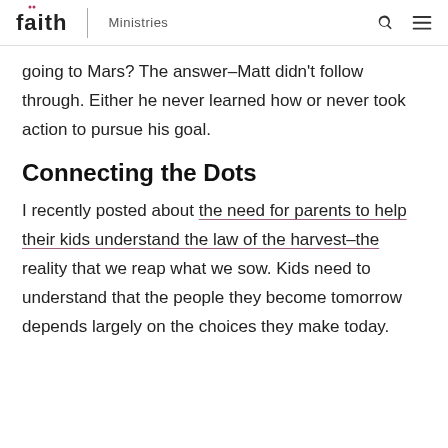faith | Ministries
going to Mars?  The answer–Matt didn't follow through.  Either he never learned how or never took action to pursue his goal.
Connecting the Dots
I recently posted about the need for parents to help their kids understand the law of the harvest–the reality that we reap what we sow.  Kids need to understand that the people they become tomorrow depends largely on the choices they make today.